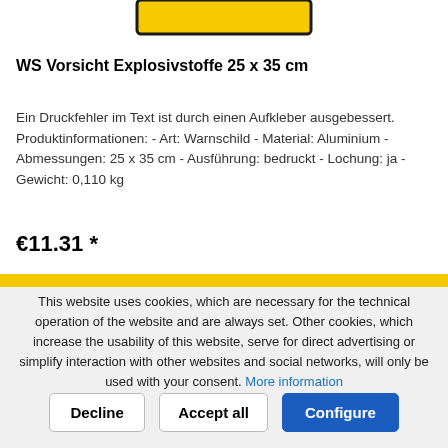[Figure (other): Partial yellow-bordered rectangle visible at top of page, likely a product image placeholder]
WS Vorsicht Explosivstoffe 25 x 35 cm
Ein Druckfehler im Text ist durch einen Aufkleber ausgebessert. Produktinformationen: - Art: Warnschild - Material: Aluminium - Abmessungen: 25 x 35 cm - Ausführung: bedruckt - Lochung: ja - Gewicht: 0,110 kg
€11.31 *
This website uses cookies, which are necessary for the technical operation of the website and are always set. Other cookies, which increase the usability of this website, serve for direct advertising or simplify interaction with other websites and social networks, will only be used with your consent. More information